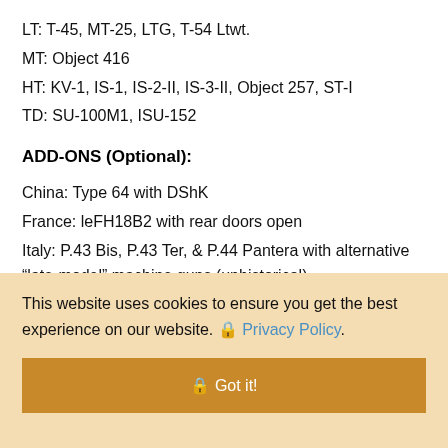LT: T-45, MT-25, LTG, T-54 Ltwt.
MT: Object 416
HT: KV-1, IS-1, IS-2-II, IS-3-II, Object 257, ST-I
TD: SU-100M1, ISU-152
ADD-ONS (Optional):
China: Type 64 with DShK
France: leFH18B2 with rear doors open
Italy: P.43 Bis, P.43 Ter, & P.44 Pantera with alternative “late-model” machine guns (unhistorical)
This website uses cookies to ensure you get the best experience on our website. 🔒 Privacy Policy.
🔒 Got it!